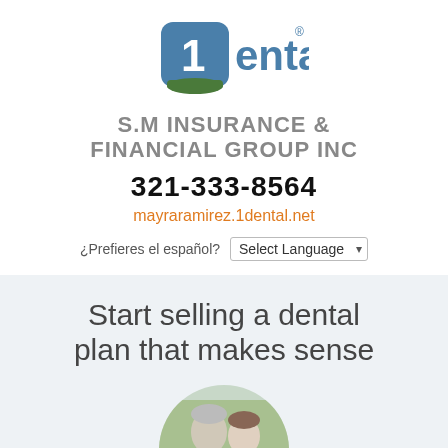[Figure (logo): 1Dental logo with blue rounded square and green base accent]
S.M INSURANCE & FINANCIAL GROUP INC
321-333-8564
mayraramirez.1dental.net
¿Prefieres el español?  Select Language
Start selling a dental plan that makes sense
[Figure (photo): Circular photo of an elderly couple smiling outdoors]